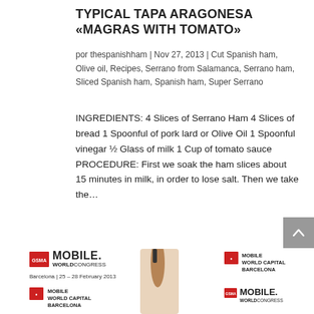TYPICAL TAPA ARAGONESA «MAGRAS WITH TOMATO»
por thespanishham | Nov 27, 2013 | Cut Spanish ham, Olive oil, Recipes, Serrano from Salamanca, Serrano ham, Sliced Spanish ham, Spanish ham, Super Serrano
INGREDIENTS: 4 Slices of Serrano Ham 4 Slices of bread 1 Spoonful of pork lard or Olive Oil 1 Spoonful vinegar ½ Glass of milk 1 Cup of tomato sauce PROCEDURE: First we soak the ham slices about 15 minutes in milk, in order to lose salt. Then we take the…
[Figure (infographic): Mobile World Congress and Mobile World Capital Barcelona logos and branding with a Spanish ham leg image in the center. Text: Mobile World Congress, Barcelona | 25 – 28 February 2013, Mobile World Capital Barcelona, logo repeated bottom.]